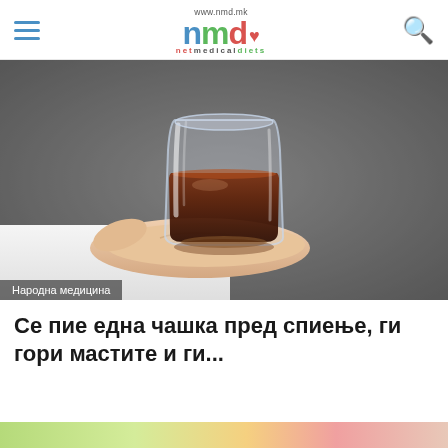www.nmd.mk — netmedicaldiets logo with hamburger menu and search icon
[Figure (photo): A hand in a white sleeve holding a short glass filled with a dark amber/brown liquid, on a grey background]
Народна медицина
Се пие една чашка пред спиење, ги гори мастите и ги...